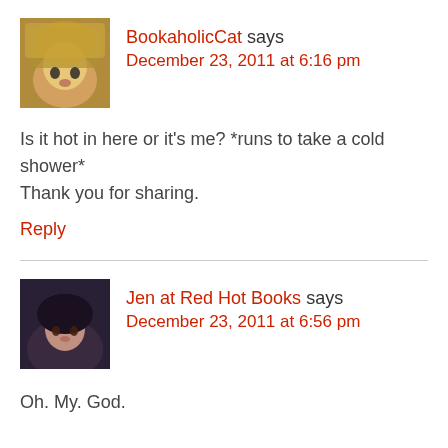[Figure (photo): Avatar image of BookaholicCat - anime-style blonde character]
BookaholicCat says
December 23, 2011 at 6:16 pm
Is it hot in here or it's me? *runs to take a cold shower*
Thank you for sharing.
Reply
[Figure (photo): Avatar photo of Jen at Red Hot Books - woman with dark hair]
Jen at Red Hot Books says
December 23, 2011 at 6:56 pm
Oh. My. God.